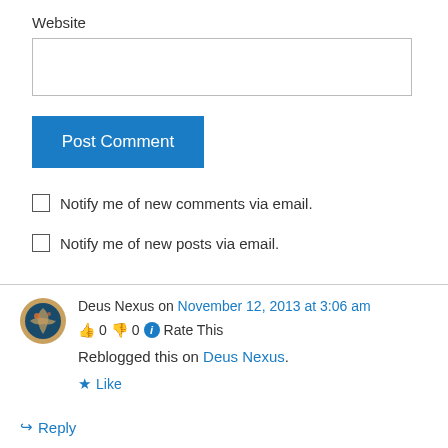Website
Post Comment
Notify me of new comments via email.
Notify me of new posts via email.
Deus Nexus on November 12, 2013 at 3:06 am
👍 0 👎 0 ℹ Rate This
Reblogged this on Deus Nexus.
★ Like
↪ Reply